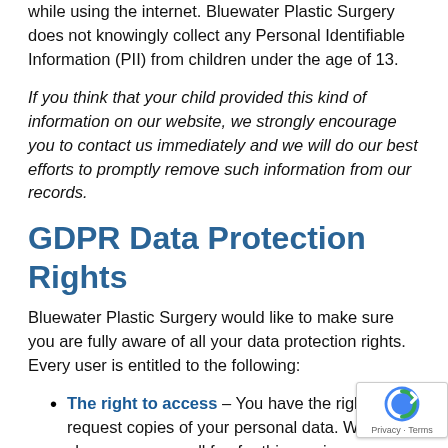while using the internet. Bluewater Plastic Surgery does not knowingly collect any Personal Identifiable Information (PII) from children under the age of 13.
If you think that your child provided this kind of information on our website, we strongly encourage you to contact us immediately and we will do our best efforts to promptly remove such information from our records.
GDPR Data Protection Rights
Bluewater Plastic Surgery would like to make sure you are fully aware of all your data protection rights. Every user is entitled to the following:
The right to access – You have the right to request copies of your personal data. We may charge you a small fee for this service.
The right to rectification – You have the right to request that we correct any information you believe is inaccurate.